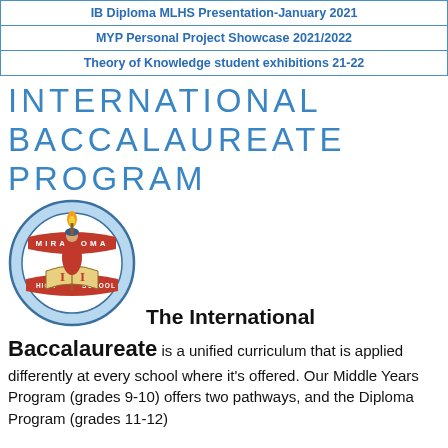| IB Diploma MLHS Presentation-January 2021 |
| MYP Personal Project Showcase 2021/2022 |
| Theory of Knowledge student exhibitions 21-22 |
INTERNATIONAL BACCALAUREATE PROGRAM
[Figure (logo): Mira Loma High School circular logo/crest with a figure holding a torch and book, text around circle reading MIRA LOMA HIGH SCHOOL]
The International Baccalaureate is a unified curriculum that is applied differently at every school where it's offered. Our Middle Years Program (grades 9-10) offers two pathways, and the Diploma Program (grades 11-12)